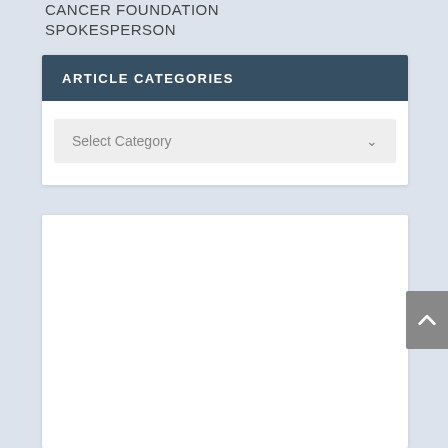CANCER FOUNDATION SPOKESPERSON
ARTICLE CATEGORIES
Select Category
[Figure (screenshot): Empty white content box below article categories section]
[Figure (other): Back to top button with upward chevron arrow, grey background, right edge of page]